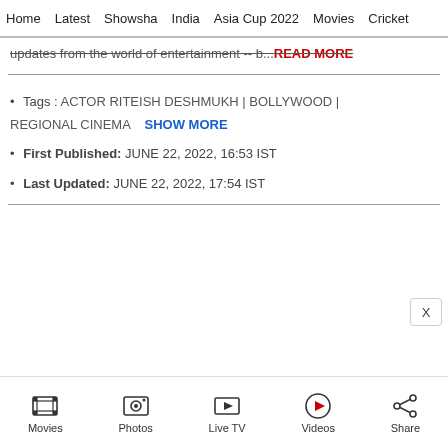Home | Latest | Showsha | India | Asia Cup 2022 | Movies | Cricket
updates from the world of entertainment -- b...READ MORE
• Tags : ACTOR RITEISH DESHMUKH | BOLLYWOOD | REGIONAL CINEMA SHOW MORE
• First Published: JUNE 22, 2022, 16:53 IST
• Last Updated: JUNE 22, 2022, 17:54 IST
Movies | Photos | Live TV | Videos | Share